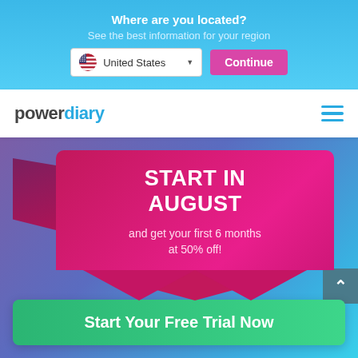Where are you located?
See the best information for your region
[Figure (screenshot): Dropdown selector showing United States with flag icon and a pink Continue button]
[Figure (logo): Power Diary logo in dark and blue text]
[Figure (infographic): Pink ribbon banner with text START IN AUGUST and get your first 6 months at 50% off!]
Start Your Free Trial Now